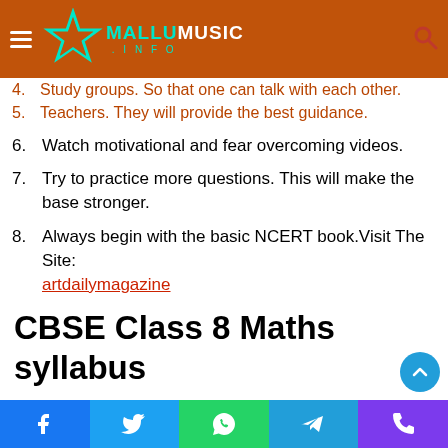MALLUMUSIC.INFO
4. Study groups. So that one can talk with each other.
5. Teachers. They will provide the best guidance.
6. Watch motivational and fear overcoming videos.
7. Try to practice more questions. This will make the base stronger.
8. Always begin with the basic NCERT book. Visit The Site: artdailymagazine
CBSE Class 8 Maths syllabus
Students should be serious in their studies. Class 8 maths topics are interrelated to each other. If they do not pay attention to one topic they won't be able to understand the other.
Facebook Twitter WhatsApp Telegram Phone